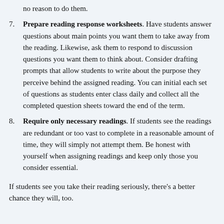no reason to do them.
Prepare reading response worksheets. Have students answer questions about main points you want them to take away from the reading. Likewise, ask them to respond to discussion questions you want them to think about. Consider drafting prompts that allow students to write about the purpose they perceive behind the assigned reading. You can initial each set of questions as students enter class daily and collect all the completed question sheets toward the end of the term.
Require only necessary readings. If students see the readings are redundant or too vast to complete in a reasonable amount of time, they will simply not attempt them. Be honest with yourself when assigning readings and keep only those you consider essential.
If students see you take their reading seriously, there’s a better chance they will, too.